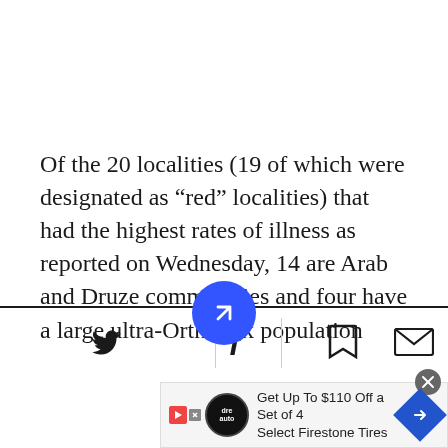Of the 20 localities (19 of which were designated as “red” localities) that had the highest rates of illness as reported on Wednesday, 14 are Arab and Druze communities and four have a large ultra-Orthodox population
[Figure (infographic): Social share bar with Twitter, Facebook, a blue circular share button with arrow icon, bookmark icon, and mail icon. Below is a partial advertisement for Firestone Tires.]